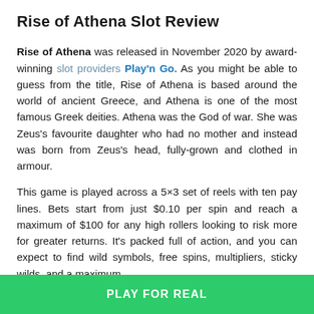Rise of Athena Slot Review
Rise of Athena was released in November 2020 by award-winning slot providers Play'n Go. As you might be able to guess from the title, Rise of Athena is based around the world of ancient Greece, and Athena is one of the most famous Greek deities. Athena was the God of war. She was Zeus's favourite daughter who had no mother and instead was born from Zeus's head, fully-grown and clothed in armour.
This game is played across a 5×3 set of reels with ten pay lines. Bets start from just $0.10 per spin and reach a maximum of $100 for any high rollers looking to risk more for greater returns. It's packed full of action, and you can expect to find wild symbols, free spins, multipliers, sticky wilds, and a maximum
PLAY FOR REAL